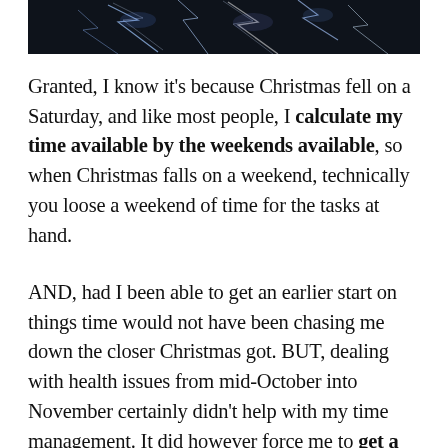[Figure (photo): A dark image with lightning or electrical discharge streaks in blue-white against a dark background, cropped at the top of the page.]
Granted, I know it's because Christmas fell on a Saturday, and like most people, I calculate my time available by the weekends available, so when Christmas falls on a weekend, technically you loose a weekend of time for the tasks at hand.
AND, had I been able to get an earlier start on things time would not have been chasing me down the closer Christmas got. BUT, dealing with health issues from mid-October into November certainly didn't help with my time management. It did however force me to get a little creative with what time I had, and what I